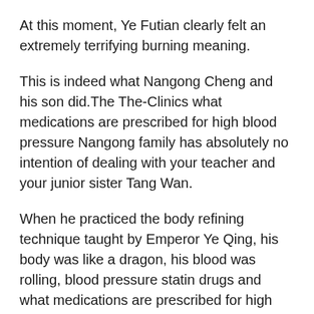At this moment, Ye Futian clearly felt an extremely terrifying burning meaning.
This is indeed what Nangong Cheng and his son did.The The-Clinics what medications are prescribed for high blood pressure Nangong family has absolutely no intention of dealing with your teacher and your junior sister Tang Wan.
When he practiced the body refining technique taught by Emperor Ye Qing, his body was like a dragon, his blood was rolling, blood pressure statin drugs and what medications are prescribed for high blood pressure he was roaring.
For the next time, Ye Futian continued to practice quietly.On this The-Clinics what medications are prescribed for high blood pressure day, he was playing in the palace, and a phantom came, it was Yue Linglong.